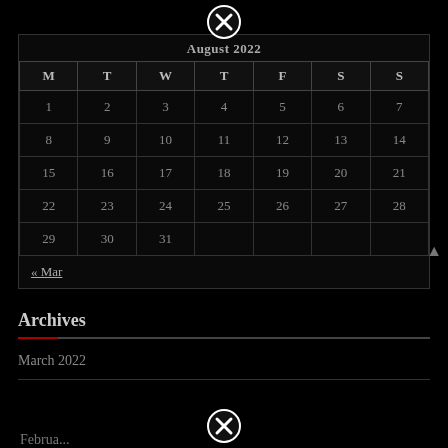[Figure (other): Close (X) button icon at top center]
August 2022
| M | T | W | T | F | S | S |
| --- | --- | --- | --- | --- | --- | --- |
| 1 | 2 | 3 | 4 | 5 | 6 | 7 |
| 8 | 9 | 10 | 11 | 12 | 13 | 14 |
| 15 | 16 | 17 | 18 | 19 | 20 | 21 |
| 22 | 23 | 24 | 25 | 26 | 27 | 28 |
| 29 | 30 | 31 |  |  |  |  |
« Mar
Archives
March 2022
February 2022
[Figure (other): Close (X) button icon at bottom center]